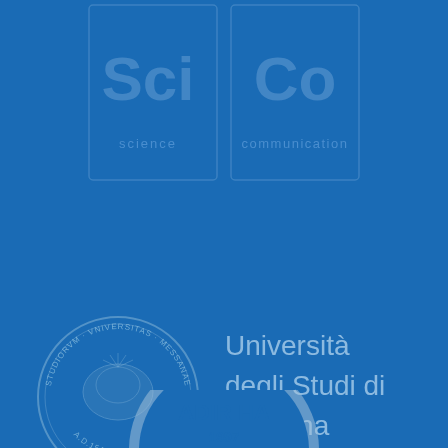[Figure (logo): SciCo (Science Communication) logo with two blue tiles — left tile shows 'Sci' in large text with 'science' below, right tile shows 'Co' in large text with 'communication' below. Blue-on-blue watermark style.]
[Figure (logo): University of Messina seal/crest (circular emblem with STUDIORVМ VNIVERSITAS MESSANAE text and A.D.1548) alongside text 'Università degli Studi di Messina'. Light blue-on-blue watermark style.]
[Figure (logo): Partial circular logo/seal showing 'ADIR HA' text and '1997' at the bottom, light blue-on-blue watermark style, partially cropped at the bottom of the page.]